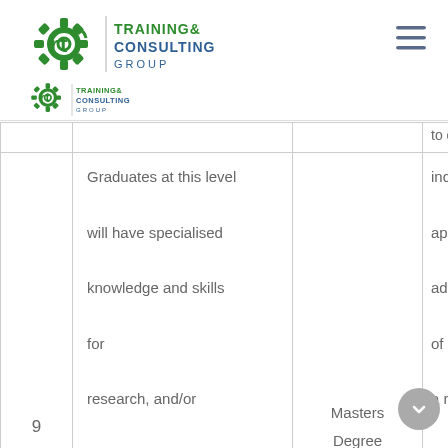[Figure (logo): RTO Training & Consulting Group logo (large, green gear icon with green and navy text)]
[Figure (logo): RTO Training & Consulting Group logo (small, green gear icon with navy text)]
| Level | Description | Qualification | Learning Outcomes (partial/clipped) |
| --- | --- | --- | --- |
|  | to qual... individu... apply a... advanc... of kno... |  |  |
| 9 | Graduates at this level will have specialised knowledge and skills for

research, and/or

professional practice

and/or further learning | Masters Degree | to qual... individu... apply a... advanc... of kno... a range... contex... profess... practic... a pathw... further... |